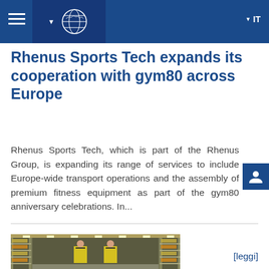IT
Rhenus Sports Tech expands its cooperation with gym80 across Europe
Rhenus Sports Tech, which is part of the Rhenus Group, is expanding its range of services to include Europe-wide transport operations and the assembly of premium fitness equipment as part of the gym80 anniversary celebrations. In...
[leggi]
[Figure (photo): Two workers in yellow hi-vis vests and face masks standing inside a large warehouse with tall shelving racks filled with goods.]